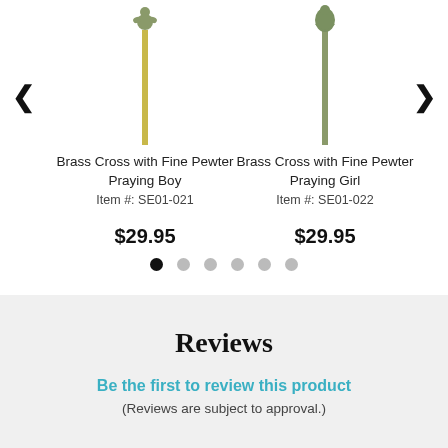[Figure (photo): Brass Cross with Fine Pewter Praying Boy - a cross stake with a pewter figure on top]
Brass Cross with Fine Pewter Praying Boy
Item #: SE01-021
$29.95
[Figure (photo): Brass Cross with Fine Pewter Praying Girl - a cross stake with a pewter figure on top]
Brass Cross with Fine Pewter Praying Girl
Item #: SE01-022
$29.95
Reviews
Be the first to review this product
(Reviews are subject to approval.)